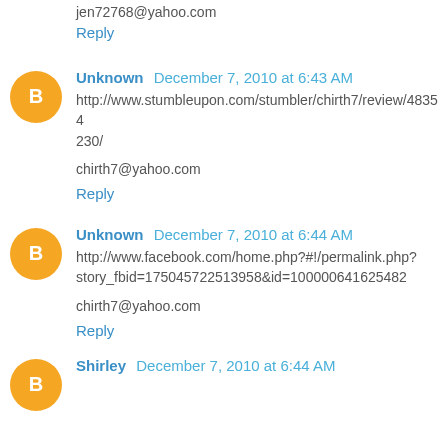jen72768@yahoo.com
Reply
Unknown December 7, 2010 at 6:43 AM
http://www.stumbleupon.com/stumbler/chirth7/review/48354230/
chirth7@yahoo.com
Reply
Unknown December 7, 2010 at 6:44 AM
http://www.facebook.com/home.php?#!/permalink.php?story_fbid=175045722513958&id=100000641625482
chirth7@yahoo.com
Reply
Shirley December 7, 2010 at 6:44 AM